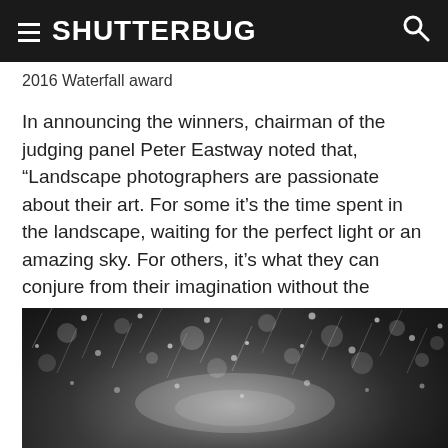SHUTTERBUG
2016 Waterfall award
In announcing the winners, chairman of the judging panel Peter Eastway noted that, “Landscape photographers are passionate about their art. For some it’s the time spent in the landscape, waiting for the perfect light or an amazing sky. For others, it’s what they can conjure from their imagination without the restrictions of the natural world.”
[Figure (photo): Black and white photograph showing bokeh/snow particles against a dark background with streaks of light, resembling a night sky or rain/snow scene]